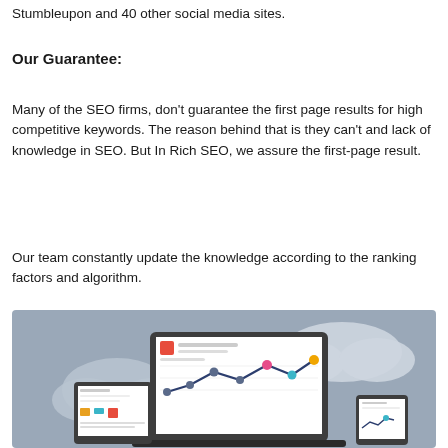Stumbleupon and 40 other social media sites.
Our Guarantee:
Many of the SEO firms, don’t guarantee the first page results for high competitive keywords. The reason behind that is they can’t and lack of knowledge in SEO. But In Rich SEO, we assure the first-page result.
Our team constantly update the knowledge according to the ranking factors and algorithm.
[Figure (illustration): Flat design illustration of devices (laptop, tablet, phone) displaying analytics/line charts with data points in teal, blue, orange, pink colors, set against a grey-blue background with cloud shapes.]